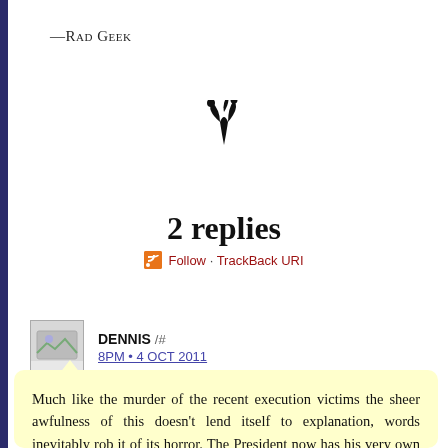—Rad Geek
[Figure (illustration): Decorative floral/plant ornament symbol in black]
2 replies
Follow · TrackBack URI
DENNIS /#
8PM • 4 OCT 2011
Much like the murder of the recent execution victims the sheer awfulness of this doesn't lend itself to explanation, words inevitably rob it of its horror. The President now has his very own Star Chamber. Murder dressed up in the pomp of legality and tradition is bad enough, this is even worse.